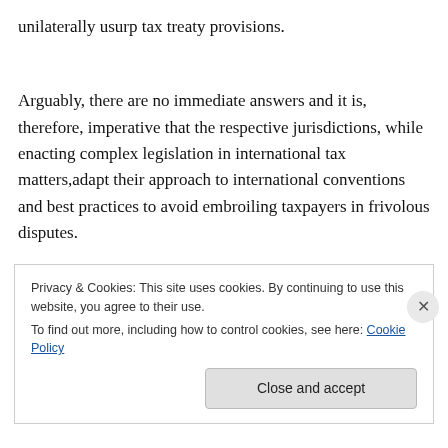unilaterally usurp tax treaty provisions.
Arguably, there are no immediate answers and it is, therefore, imperative that the respective jurisdictions, while enacting complex legislation in international tax matters,adapt their approach to international conventions and best practices to avoid embroiling taxpayers in frivolous disputes.
Privacy & Cookies: This site uses cookies. By continuing to use this website, you agree to their use.
To find out more, including how to control cookies, see here: Cookie Policy